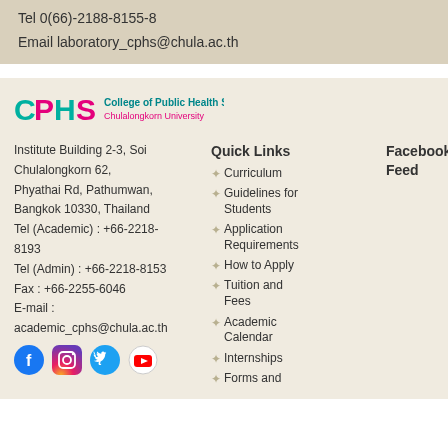Tel 0(66)-2188-8155-8
Email laboratory_cphs@chula.ac.th
[Figure (logo): CPHS College of Public Health Sciences Chulalongkorn University logo]
Institute Building 2-3, Soi Chulalongkorn 62, Phyathai Rd, Pathumwan, Bangkok 10330, Thailand
Tel (Academic) : +66-2218-8193
Tel (Admin) : +66-2218-8153
Fax : +66-2255-6046
E-mail : academic_cphs@chula.ac.th
Quick Links
Curriculum
Guidelines for Students
Application Requirements
How to Apply
Tuition and Fees
Academic Calendar
Internships
Forms and
Facebook Feed
[Figure (logo): Social media icons: Facebook, Instagram, Twitter, YouTube]